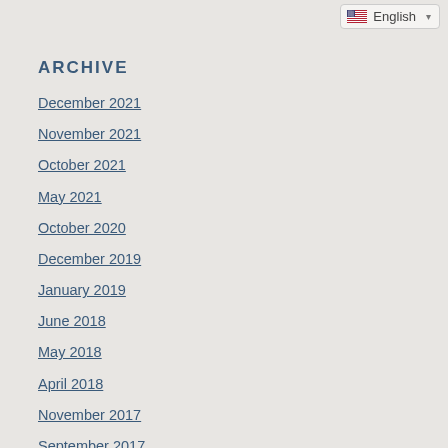English
ARCHIVE
December 2021
November 2021
October 2021
May 2021
October 2020
December 2019
January 2019
June 2018
May 2018
April 2018
November 2017
September 2017
June 2017
May 2017